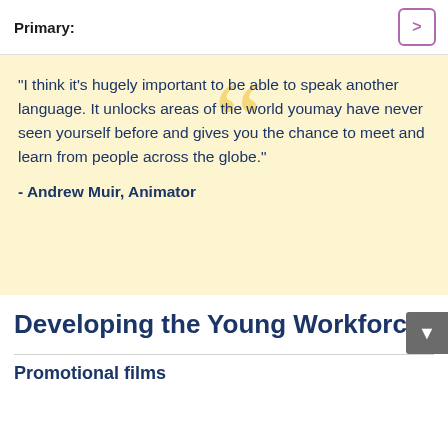Primary:
"I think it's hugely important to be able to speak another language. It unlocks areas of the world youmay have never seen yourself before and gives you the chance to meet and learn from people across the globe."
- Andrew Muir, Animator
Developing the Young Workforce
Promotional films